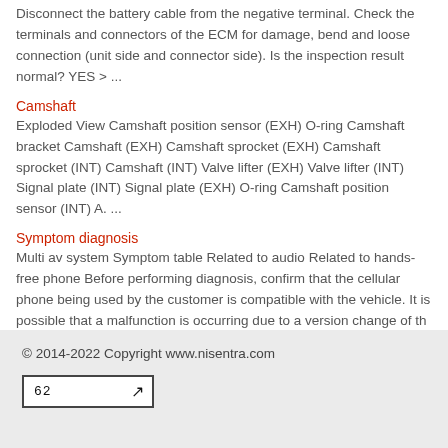Disconnect the battery cable from the negative terminal. Check the terminals and connectors of the ECM for damage, bend and loose connection (unit side and connector side). Is the inspection result normal? YES > ...
Camshaft
Exploded View Camshaft position sensor (EXH) O-ring Camshaft bracket Camshaft (EXH) Camshaft sprocket (EXH) Camshaft sprocket (INT) Camshaft (INT) Valve lifter (EXH) Valve lifter (INT) Signal plate (INT) Signal plate (EXH) O-ring Camshaft position sensor (INT) A. ...
Symptom diagnosis
Multi av system Symptom table Related to audio Related to hands-free phone Before performing diagnosis, confirm that the cellular phone being used by the customer is compatible with the vehicle. It is possible that a malfunction is occurring due to a version change of th ...
© 2014-2022 Copyright www.nisentra.com